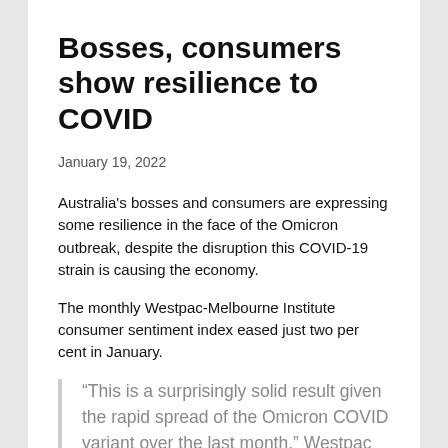Bosses, consumers show resilience to COVID
January 19, 2022
Australia's bosses and consumers are expressing some resilience in the face of the Omicron outbreak, despite the disruption this COVID-19 strain is causing the economy.
The monthly Westpac-Melbourne Institute consumer sentiment index eased just two per cent in January.
“This is a surprisingly solid result given the rapid spread of the Omicron COVID variant over the last month,” Westpac chief economist Bill Evans said.